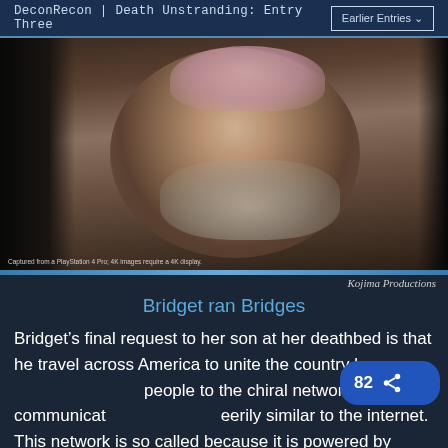DeconRecon | Death Unstranding: Entry Three
[Figure (screenshot): Game screenshot of an older woman with a pink headscarf/hat looking toward the camera, from Death Stranding by Kojima Productions. Captured from a PlayStation 4 Pro; 4K images require a 4K display.]
Kojima Productions
Bridget ran Bridges
Bridget’s final request to her son at her deathbed is that he travel across America to unite the country by connecting people to the chiral network, a new communication system eerily similar to the internet. This network is so called because it is powered by chiralium—an invisible substance similar to